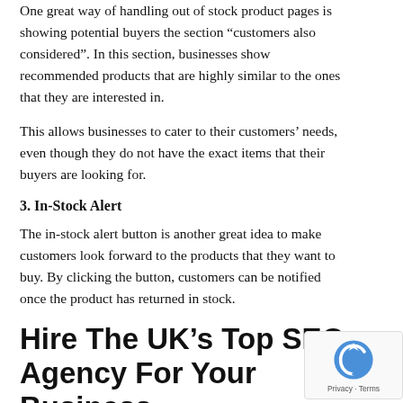One great way of handling out of stock product pages is showing potential buyers the section “customers also considered”. In this section, businesses show recommended products that are highly similar to the ones that they are interested in.
This allows businesses to cater to their customers’ needs, even though they do not have the exact items that their buyers are looking for.
3. In-Stock Alert
The in-stock alert button is another great idea to make customers look forward to the products that they want to buy. By clicking the button, customers can be notified once the product has returned in stock.
Hire The UK’s Top SEO Agency For Your Business
Most business owners do not have the time to deal with the